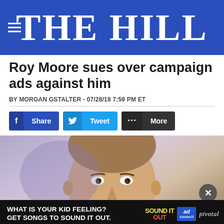THE HILL
Roy Moore sues over campaign ads against him
BY MORGAN GSTALTER - 07/28/18 7:59 PM ET
[Figure (screenshot): Social sharing buttons: Facebook Share, Twitter Tweet, More]
[Figure (photo): Roy Moore at a podium speaking into a microphone, with a blue/purple background]
[Figure (other): Advertisement banner: WHAT IS YOUR KID FEELING? GET SONGS TO SOUND IT OUT. Sound It Out, Ad Council, Pivotal]